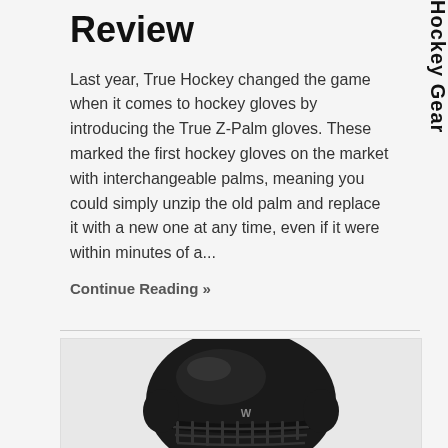Review
Last year, True Hockey changed the game when it comes to hockey gloves by introducing the True Z-Palm gloves. These marked the first hockey gloves on the market with interchangeable palms, meaning you could simply unzip the old palm and replace it with a new one at any time, even if it were within minutes of a...
Continue Reading »
[Figure (photo): Black hockey helmet with cage/face guard, shown from front-side angle against light background]
Hockey Gear (vertical sidebar text)